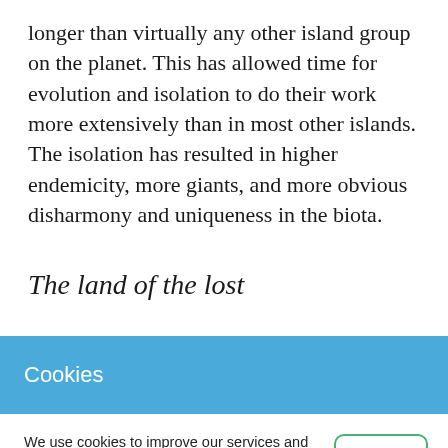longer than virtually any other island group on the planet. This has allowed time for evolution and isolation to do their work more extensively than in most other islands. The isolation has resulted in higher endemicity, more giants, and more obvious disharmony and uniqueness in the biota.
The land of the lost
[partial line of body text, partially obscured by cookie banner]
Cookies
We use cookies to improve our services and to analyze our traffic. To find out more, read our Privacy Policy.